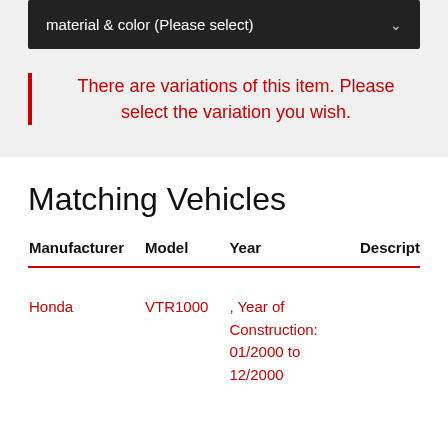material & color (Please select)
There are variations of this item. Please select the variation you wish.
Matching Vehicles
| Manufacturer | Model | Year | Descript... |
| --- | --- | --- | --- |
| Honda | VTR1000 | , Year of Construction: 01/2000 to 12/2000 |  |